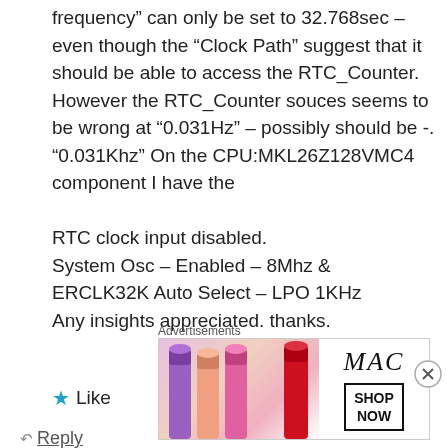frequency” can only be set to 32.768sec – even though the “Clock Path” suggest that it should be able to access the RTC_Counter. However the RTC_Counter souces seems to be wrong at “0.031Hz” – possibly should be -.“0.031Khz” On the CPU:MKL26Z128VMC4 component I have the
RTC clock input disabled.
System Osc – Enabled – 8Mhz &
ERCLK32K Auto Select – LPO 1KHz
Any insights appreciated. thanks.
★ Like
↩ Reply
Advertisements
[Figure (illustration): MAC cosmetics advertisement showing lipsticks on left and MAC logo with SHOP NOW button on right]